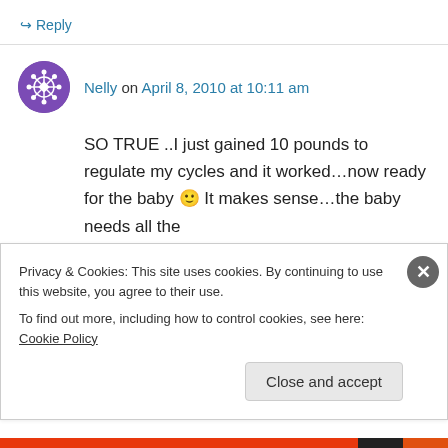↪ Reply
Nelly on April 8, 2010 at 10:11 am
SO TRUE ..I just gained 10 pounds to regulate my cycles and it worked...now ready for the baby 🙂 It makes sense...the baby needs all the
Privacy & Cookies: This site uses cookies. By continuing to use this website, you agree to their use.
To find out more, including how to control cookies, see here: Cookie Policy
Close and accept